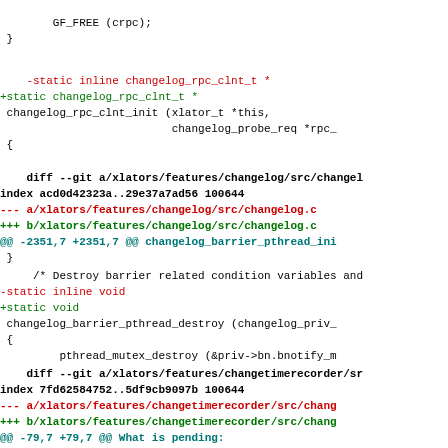GF_FREE (crpc);
 }
-static inline changelog_rpc_clnt_t *
+static changelog_rpc_clnt_t *
 changelog_rpc_clnt_init (xlator_t *this,
                          changelog_probe_req *rpc_
 {
diff --git a/xlators/features/changelog/src/changel
index acd0d42323a..29e37a7ad56 100644
--- a/xlators/features/changelog/src/changelog.c
+++ b/xlators/features/changelog/src/changelog.c
@@ -2351,7 +2351,7 @@ changelog_barrier_pthread_ini
 }
/* Destroy barrier related condition variables and
-static inline void
+static void
 changelog_barrier_pthread_destroy (changelog_priv_
 {
         pthread_mutex_destroy (&priv->bn.bnotify_m
diff --git a/xlators/features/changetimerecorder/sr
index 7fd62584752..5df9cb9097b 100644
--- a/xlators/features/changetimerecorder/src/chang
+++ b/xlators/features/changetimerecorder/src/chang
@@ -79,7 +79,7 @@ What is pending:
 /* This function doesnot write anything to the db,
  * just created the local variable
  * for the frame and sets values for the str_db_re